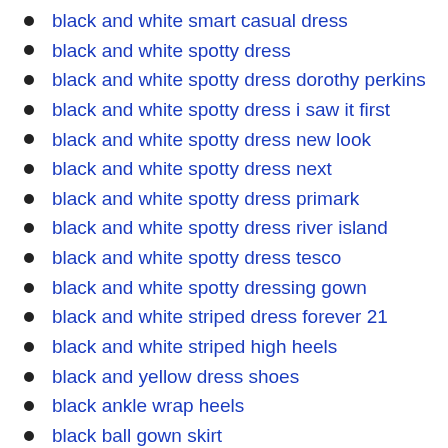black and white smart casual dress
black and white spotty dress
black and white spotty dress dorothy perkins
black and white spotty dress i saw it first
black and white spotty dress new look
black and white spotty dress next
black and white spotty dress primark
black and white spotty dress river island
black and white spotty dress tesco
black and white spotty dressing gown
black and white striped dress forever 21
black and white striped high heels
black and yellow dress shoes
black ankle wrap heels
black ball gown skirt